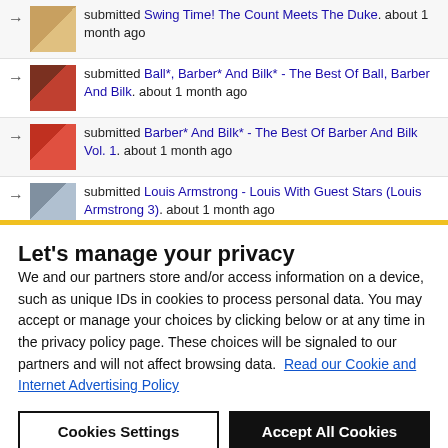submitted Swing Time! The Count Meets The Duke. about 1 month ago
submitted Ball*, Barber* And Bilk* - The Best Of Ball, Barber And Bilk. about 1 month ago
submitted Barber* And Bilk* - The Best Of Barber And Bilk Vol. 1. about 1 month ago
submitted Louis Armstrong - Louis With Guest Stars (Louis Armstrong 3). about 1 month ago
submitted Louis Armstrong - His Immortal Concert Series. about 1 month ago
Let's manage your privacy
We and our partners store and/or access information on a device, such as unique IDs in cookies to process personal data. You may accept or manage your choices by clicking below or at any time in the privacy policy page. These choices will be signaled to our partners and will not affect browsing data. Read our Cookie and Internet Advertising Policy